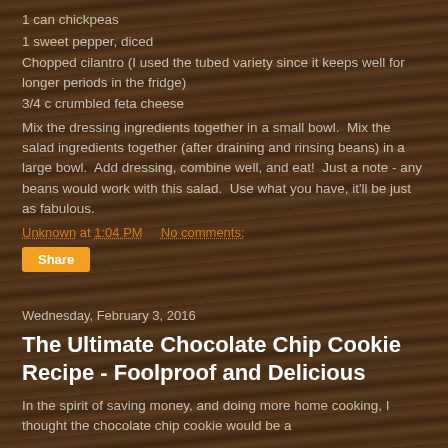1 can chickpeas
1 sweet pepper, diced
Chopped cilantro (I used the tubed variety since it keeps well for longer periods in the fridge)
3/4 c crumbled feta cheese
Mix the dressing ingredients together in a small bowl.  Mix the salad ingredients together (after draining and rinsing beans) in a large bowl.  Add dressing, combine well, and eat!  Just a note - any beans would work with this salad.  Use what you have, it'll be just as fabulous.
Unknown at 1:04 PM    No comments:
Share
Wednesday, February 3, 2016
The Ultimate Chocolate Chip Cookie Recipe - Foolproof and Delicious
In the spirit of saving money, and doing more home cooking, I thought the chocolate chip cookie would be a